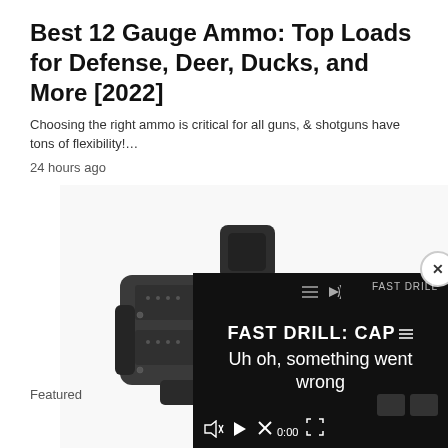Best 12 Gauge Ammo: Top Loads for Defense, Deer, Ducks, and More [2022]
Choosing the right ammo is critical for all guns, & shotguns have tons of flexibility!…
24 hours ago
[Figure (photo): Close-up of a dark grey rifle/shotgun stock and buttstock mechanism, shown in detail from the side against a white background]
Featured
[Figure (screenshot): Video player overlay with dark background showing text 'FAST DRILL: CAP=' and error message 'Uh oh, something went wrong', with video controls including play button, seek bar, mute icon, timestamp 0:00, and fullscreen button. A close (X) button appears at the top right.]